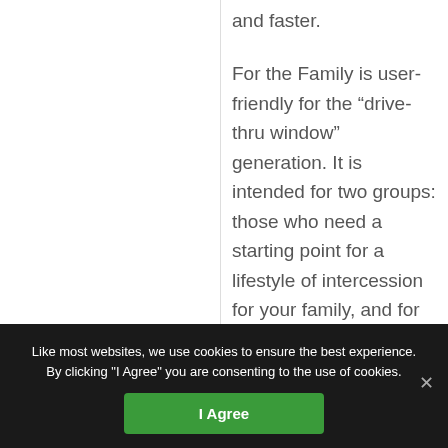and faster.
For the Family is user-friendly for the “drive-thru window” generation. It is intended for two groups: those who need a starting point for a lifestyle of intercession for your family, and for those
Like most websites, we use cookies to ensure the best experience. By clicking "I Agree" you are consenting to the use of cookies.